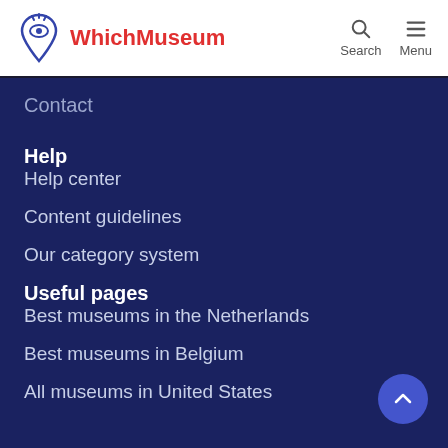WhichMuseum — Search, Menu
Contact
Help
Help center
Content guidelines
Our category system
Useful pages
Best museums in the Netherlands
Best museums in Belgium
All museums in United States